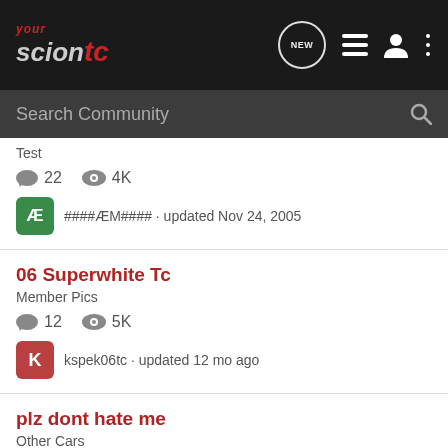yourScionTC community forum navigation header with search bar
Test
22 replies · 4K views · ####ÆM#### · updated Nov 24, 2005
06 Superwhite Tc
Member Pics
12 replies · 5K views · kspek06tc · updated 12 mo ago
plz dont hate me
Other Cars